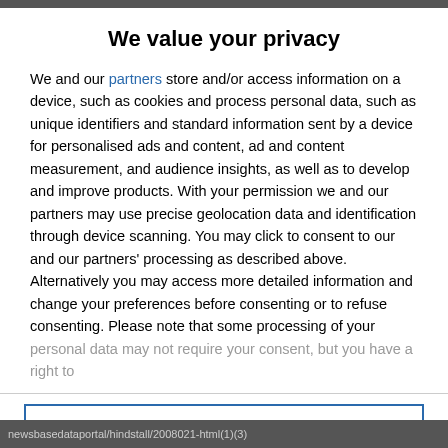We value your privacy
We and our partners store and/or access information on a device, such as cookies and process personal data, such as unique identifiers and standard information sent by a device for personalised ads and content, ad and content measurement, and audience insights, as well as to develop and improve products. With your permission we and our partners may use precise geolocation data and identification through device scanning. You may click to consent to our and our partners' processing as described above. Alternatively you may access more detailed information and change your preferences before consenting or to refuse consenting. Please note that some processing of your personal data may not require your consent, but you have a right to
AGREE
MORE OPTIONS
newsbasedataportal/hindstall/2008021-html(1)(3)